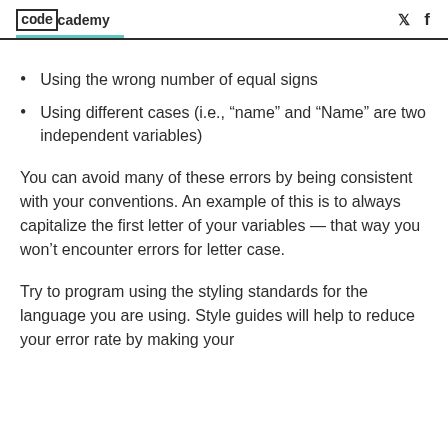codecademy
Using the wrong number of equal signs
Using different cases (i.e., “name” and “Name” are two independent variables)
You can avoid many of these errors by being consistent with your conventions. An example of this is to always capitalize the first letter of your variables — that way you won’t encounter errors for letter case.
Try to program using the styling standards for the language you are using. Style guides will help to reduce your error rate by making your